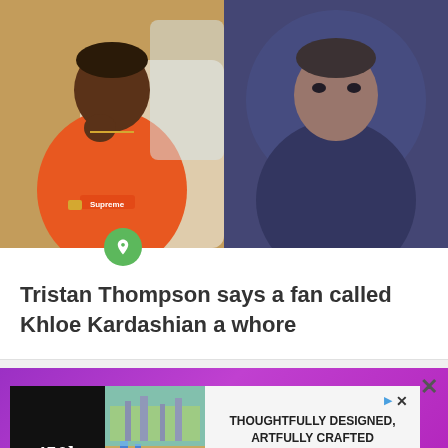[Figure (photo): Two photos side by side: left shows a man in an orange Supreme sweatshirt sitting on a private jet, right shows a man in dark clothing with blurred background]
Tristan Thompson says a fan called Khloe Kardashian a whore
[Figure (infographic): Advertisement banner for Bozzuto apartments: 450k price, photo of rooftop terrace, text reading THOUGHTFULLY DESIGNED, ARTFULLY CRAFTED APARTMENTS IN MOUNT VERNON TRIANGLE, TOUR TODAY button]